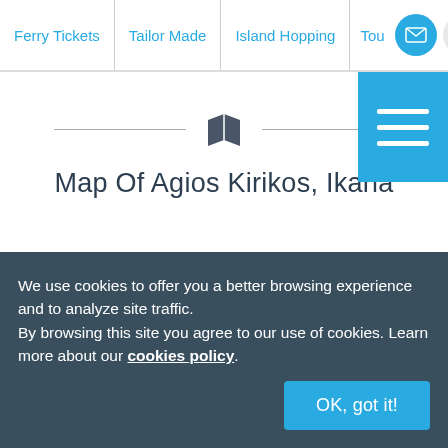Ferry Tickets | Tailor Made | Island Hopping | Tou
[Figure (other): Cyan hamburger menu button with three white horizontal lines]
[Figure (other): Map icon (book/folded map shape) with decorative horizontal lines on each side]
Map Of Agios Kirikos, Ikaria
We use cookies to offer you a better browsing experience and to analyze site traffic.
By browsing this site you agree to our use of cookies. Learn more about our cookies policy
OK, got it!